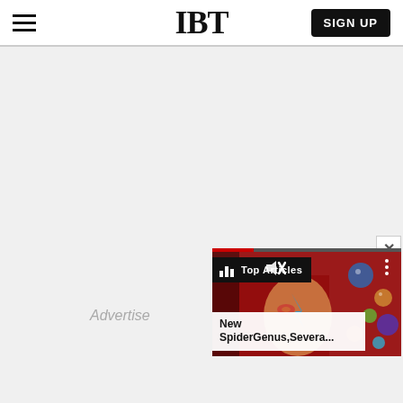IBT — SIGN UP
Advertise
[Figure (screenshot): IBT news website screenshot with a video popup panel in the bottom right showing a colorful thumbnail (David Bowie-like figure on red background with planets), a 'Top Articles' toolbar label, muted speaker icon, progress bar, and article teaser 'New SpiderGenus,Severa...' A close X button appears above the panel.]